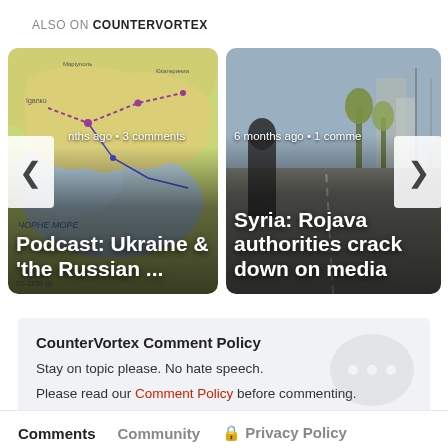ALSO ON COUNTERVORTEX
[Figure (screenshot): Carousel of two article cards. First card shows a map of Ukraine/Black Sea region with title 'Podcast: Ukraine & the Russian ...' and meta '...nths ago • 3 comments'. Second card shows a street scene in Syria with title 'Syria: Rojava authorities crack down on media' and meta '6 months ago • 1 comme...'. Left and right navigation arrows are visible.]
CounterVortex Comment Policy
Stay on topic please. No hate speech.
Please read our Comment Policy before commenting.
Comments   Community   🔒 Privacy Policy